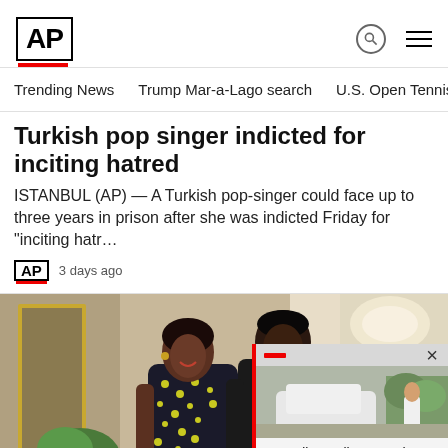AP
Trending News
Trump Mar-a-Lago search
U.S. Open Tennis
Turkish pop singer indicted for inciting hatred
ISTANBUL (AP) — A Turkish pop-singer could face up to three years in prison after she was indicted Friday for "inciting hatr…
3 days ago
[Figure (photo): Photo of Michelle Obama and Barack Obama standing together, smiling, in formal attire inside what appears to be the White House. Michelle wears a dark patterned dress, Barack wears a dark suit with blue tie.]
[Figure (photo): Popup thumbnail showing a person near a white car outdoors, related to Canadian police stabbing story.]
Canadian police search province for deadly stabbing s…